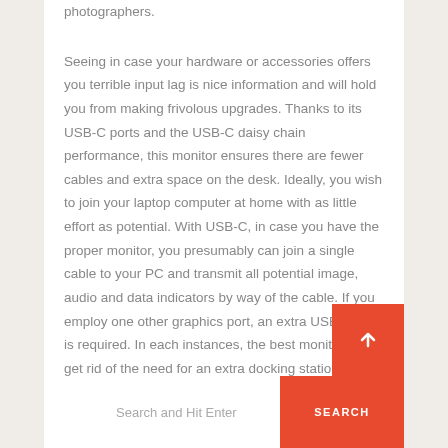photographers.
Seeing in case your hardware or accessories offers you terrible input lag is nice information and will hold you from making frivolous upgrades. Thanks to its USB-C ports and the USB-C daisy chain performance, this monitor ensures there are fewer cables and extra space on the desk. Ideally, you wish to join your laptop computer at home with as little effort as potential. With USB-C, in case you have the proper monitor, you presumably can join a single cable to your PC and transmit all potential image, audio and data indicators by way of the cable. If you employ one other graphics port, an extra USB cable is required. In each instances, the best monitor can get rid of the need for an extra docking station.